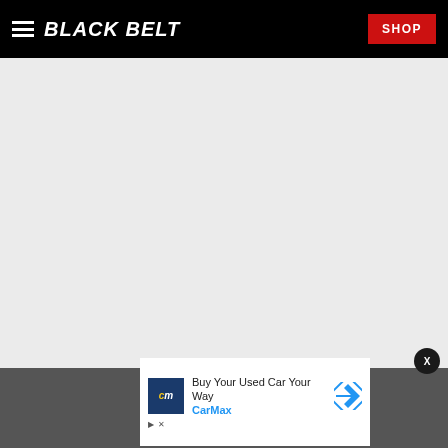BLACK BELT | SHOP
[Figure (screenshot): Gray empty content area placeholder]
[Figure (infographic): CarMax advertisement: 'Buy Your Used Car Your Way CarMax' with cm logo and directional arrow icon]